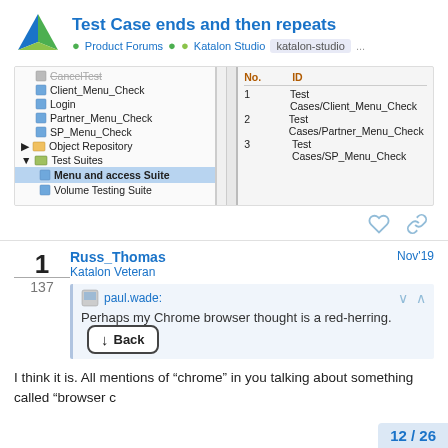Test Case ends and then repeats
Product Forums • Katalon Studio • katalon-studio ...
[Figure (screenshot): Screenshot of Katalon Studio IDE showing a test suite panel on the left with items: CancelTest, Client_Menu_Check, Login, Partner_Menu_Check, SP_Menu_Check, Object Repository, Test Suites, Menu and access Suite (highlighted), Volume Testing Suite. On the right panel showing a table with No. and ID columns listing: 1 Test Cases/Client_Menu_Check, 2 Test Cases/Partner_Menu_Check, 3 Test Cases/SP_Menu_Check.]
1
137
Russ_Thomas
Katalon Veteran
Nov'19
paul.wade:
Perhaps my Chrome browser thought is a red-herring.
I think it is. All mentions of "chrome" in you talking about something called "browser c